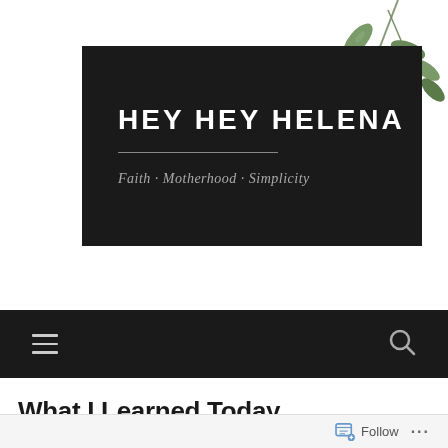[Figure (logo): Hey Hey Helena blog logo: black rectangle with white uppercase bold text 'HEY HEY HELENA', a horizontal divider line, and italic grey tagline 'Faith · Motherhood · Simplicity'. Green olive branch leaves decoration in top-right corner.]
Navigation bar with hamburger menu icon and search icon
What I Learned Today
Follow  ···